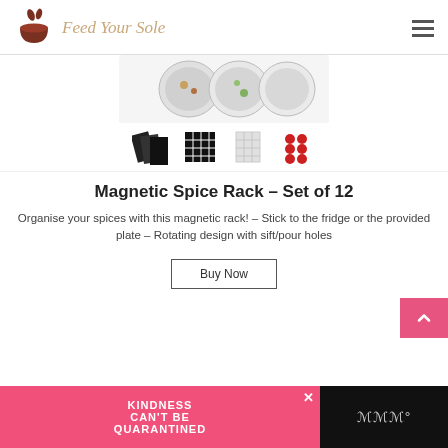Feed Your Sole
[Figure (photo): Product images of Magnetic Spice Rack showing spice containers from above and thumbnail images of label sheets and accessories]
Magnetic Spice Rack – Set of 12
Organise your spices with this magnetic rack! – Stick to the fridge or the provided plate – Rotating design with sift/pour holes
Buy Now
[Figure (infographic): Pink advertisement banner with text KINDNESS CAN'T BE QUARANTINED]